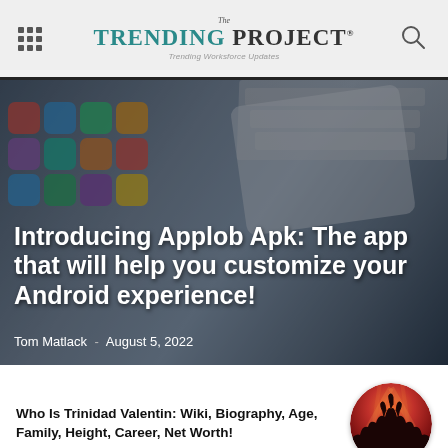The Trending Project — Trending Worksforce Updates
[Figure (photo): Hero image with tablet and app icons in background, dark overlay, article header photo for Applob Apk article]
Introducing Applob Apk: The app that will help you customize your Android experience!
Tom Matlack - August 5, 2022
Who Is Trinidad Valentin: Wiki, Biography, Age, Family, Height, Career, Net Worth!
[Figure (photo): Circular thumbnail image of a concert crowd with red/orange stage lighting and silhouettes of people with raised hands]